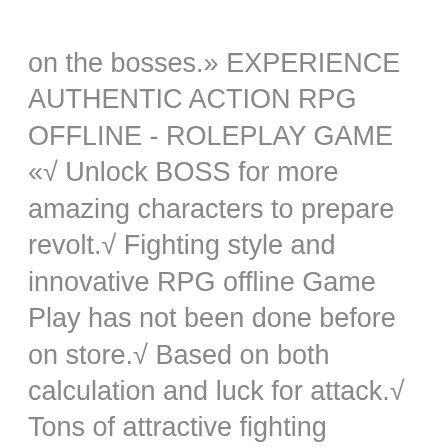on the bosses.» EXPERIENCE AUTHENTIC ACTION RPG OFFLINE - ROLEPLAY GAME «√ Unlock BOSS for more amazing characters to prepare revolt.√ Fighting style and innovative RPG offline Game Play has not been done before on store.√ Based on both calculation and luck for attack.√ Tons of attractive fighting missions and daily rewards to get successful Revolution√ Cute and lighthearted weapons in this action role playing game, Dice RPG.» GAMEPLAY – PvP for ace DICE MASTERS «-Two models PvE and PvP.-PvP Combat Model:Arena for 2 players. Intense 1vs1 Combat. Fight your way to knock opponent out!Player will fight against friends on only device.» MASSIVE CHARACTERS «√ Diverse characters with possibility to expand universe: 20 characters